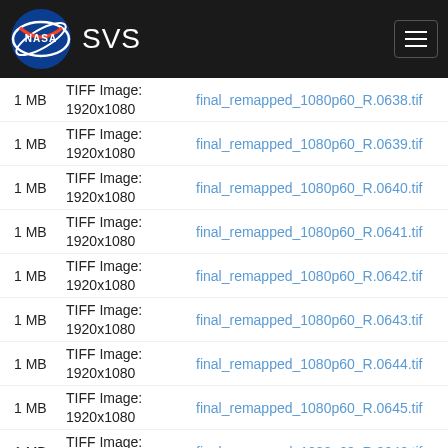NASA SVS
1 MB | TIFF Image: 1920x1080 | final_remapped_1080p60_R.0638.tif
1 MB | TIFF Image: 1920x1080 | final_remapped_1080p60_R.0639.tif
1 MB | TIFF Image: 1920x1080 | final_remapped_1080p60_R.0640.tif
1 MB | TIFF Image: 1920x1080 | final_remapped_1080p60_R.0641.tif
1 MB | TIFF Image: 1920x1080 | final_remapped_1080p60_R.0642.tif
1 MB | TIFF Image: 1920x1080 | final_remapped_1080p60_R.0643.tif
1 MB | TIFF Image: 1920x1080 | final_remapped_1080p60_R.0644.tif
1 MB | TIFF Image: 1920x1080 | final_remapped_1080p60_R.0645.tif
1 MB | TIFF Image: 1920x1080 | final_remapped_1080p60_R.0646.tif
1 MB | TIFF Image: 1920x1080 | final_remapped_1080p60_R.0647.tif